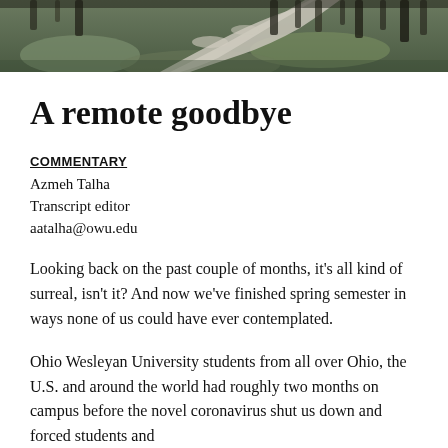[Figure (photo): Aerial or overhead view of a winding path through grass and trees, black and white tones, serves as a banner image at the top of the article.]
A remote goodbye
COMMENTARY
Azmeh Talha
Transcript editor
aatalha@owu.edu
Looking back on the past couple of months, it's all kind of surreal, isn't it? And now we've finished spring semester in ways none of us could have ever contemplated.
Ohio Wesleyan University students from all over Ohio, the U.S. and around the world had roughly two months on campus before the novel coronavirus shut us down and forced students and